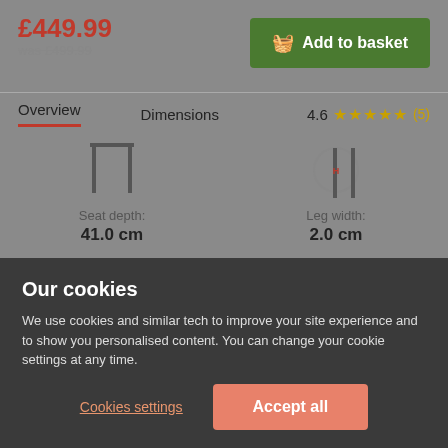£449.99
was £499.99
Add to basket
Overview   Dimensions   4.6 ★★★★★ (5)
[Figure (illustration): Diagram of chair seat depth showing 41.0 cm]
Seat depth:
41.0 cm
[Figure (illustration): Diagram of chair leg width showing 2.0 cm]
Leg width:
2.0 cm
Our cookies
We use cookies and similar tech to improve your site experience and to show you personalised content. You can change your cookie settings at any time.
Cookies settings
Accept all